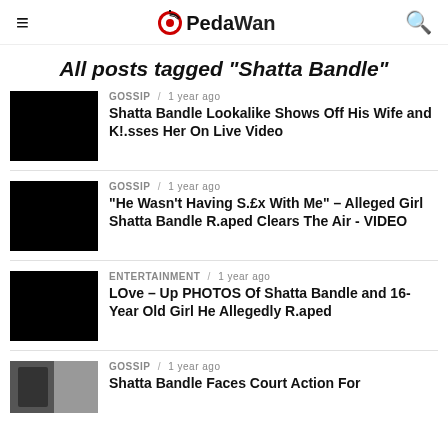PedaWan
All posts tagged "Shatta Bandle"
GOSSIP / 1 year ago
Shatta Bandle Lookalike Shows Off His Wife and K!.sses Her On Live Video
GOSSIP / 1 year ago
“He Wasn’t Having S.£x With Me” – Alleged Girl Shatta Bandle R.aped Clears The Air - VIDEO
ENTERTAINMENT / 1 year ago
LOve – Up PHOTOS Of Shatta Bandle and 16- Year Old Girl He Allegedly R.aped
GOSSIP / 1 year ago
Shatta Bandle Faces Court Action For